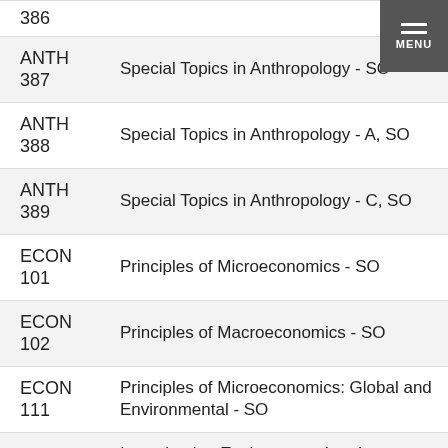| Code | Title |
| --- | --- |
| ANTH 386 |  |
| ANTH 387 | Special Topics in Anthropology - SO |
| ANTH 388 | Special Topics in Anthropology - A, SO |
| ANTH 389 | Special Topics in Anthropology - C, SO |
| ECON 101 | Principles of Microeconomics - SO |
| ECON 102 | Principles of Macroeconomics - SO |
| ECON 111 | Principles of Microeconomics: Global and Environmental - SO |
| ECON 215 | Investigating Environmental and Economic Change in Europe - SO |
| ECON 321 | Labor Economics - SO |